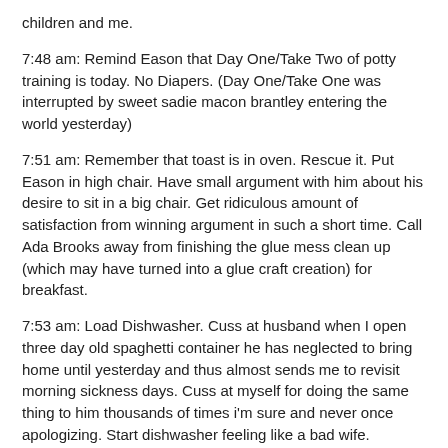children and me.
7:48 am: Remind Eason that Day One/Take Two of potty training is today. No Diapers. (Day One/Take One was interrupted by sweet sadie macon brantley entering the world yesterday)
7:51 am: Remember that toast is in oven. Rescue it. Put Eason in high chair. Have small argument with him about his desire to sit in a big chair. Get ridiculous amount of satisfaction from winning argument in such a short time. Call Ada Brooks away from finishing the glue mess clean up (which may have turned into a glue craft creation) for breakfast.
7:53 am: Load Dishwasher. Cuss at husband when I open three day old spaghetti container he has neglected to bring home until yesterday and thus almost sends me to revisit morning sickness days. Cuss at myself for doing the same thing to him thousands of times i'm sure and never once apologizing. Start dishwasher feeling like a bad wife.